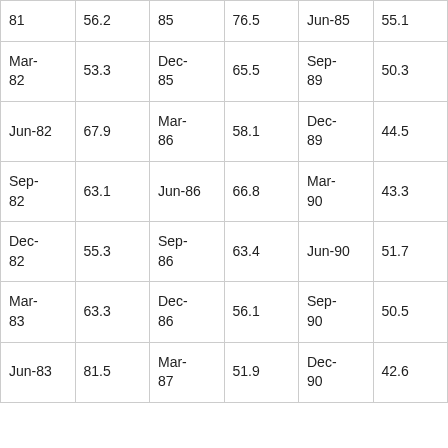| 81 | 56.2 | 85 | 76.5 | Jun-85 | 55.1 |
| Mar-82 | 53.3 | Dec-85 | 65.5 | Sep-89 | 50.3 |
| Jun-82 | 67.9 | Mar-86 | 58.1 | Dec-89 | 44.5 |
| Sep-82 | 63.1 | Jun-86 | 66.8 | Mar-90 | 43.3 |
| Dec-82 | 55.3 | Sep-86 | 63.4 | Jun-90 | 51.7 |
| Mar-83 | 63.3 | Dec-86 | 56.1 | Sep-90 | 50.5 |
| Jun-83 | 81.5 | Mar-87 | 51.9 | Dec-90 | 42.6 |